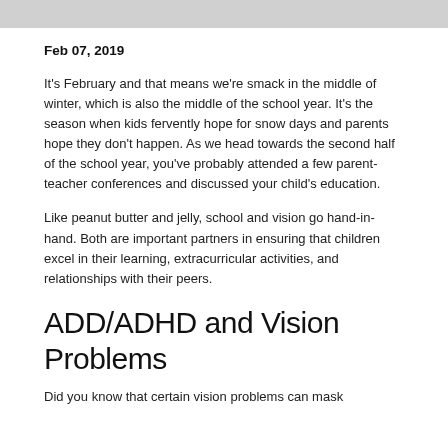[Figure (photo): Partial photo at top of page, mostly cropped, shows a grey/winter scene]
Feb 07, 2019
It's February and that means we're smack in the middle of winter, which is also the middle of the school year. It's the season when kids fervently hope for snow days and parents hope they don't happen. As we head towards the second half of the school year, you've probably attended a few parent-teacher conferences and discussed your child's education.
Like peanut butter and jelly, school and vision go hand-in-hand. Both are important partners in ensuring that children excel in their learning, extracurricular activities, and relationships with their peers.
ADD/ADHD and Vision Problems
Did you know that certain vision problems can mask